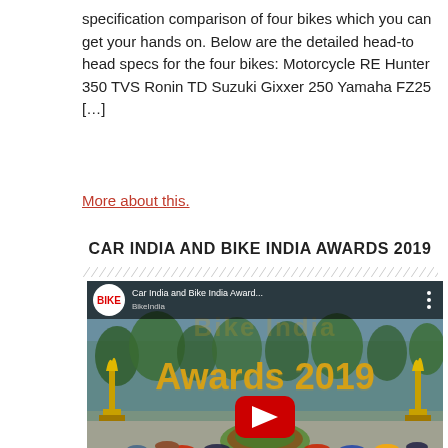specification comparison of four bikes which you can get your hands on. Below are the detailed head-to head specs for the four bikes: Motorcycle RE Hunter 350 TVS Ronin TD Suzuki Gixxer 250 Yamaha FZ25 […]
More about this.
CAR INDIA AND BIKE INDIA AWARDS 2019
[Figure (screenshot): YouTube video thumbnail for Car India and Bike India Awards 2019 showing motorcycles arranged in a circle around a garden roundabout, with large yellow 'Awards 2019' text, Bike India logo in top left, and a red YouTube play button in the center. Two trophy sculptures are visible on either side.]